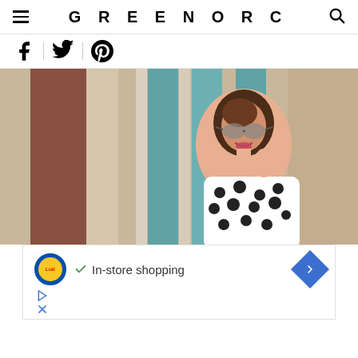GREENORC
[Figure (photo): Woman with short brown hair, wearing round mirrored sunglasses and a white polka-dot top, smiling outdoors with colorful blurred building columns in background]
[Figure (screenshot): Advertisement banner: Lidl logo with checkmark and text 'In-store shopping', blue diamond arrow icon on right, play and close icons at bottom left]